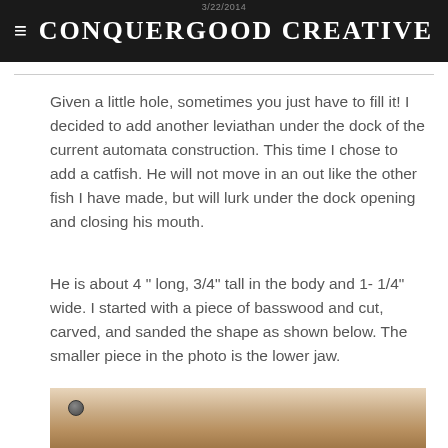3/22/2014 — CONQUERGOOD CREATIVE
Given a little hole, sometimes you just have to fill it! I decided to add another leviathan under the dock of the current automata construction. This time I chose to add a catfish. He will not move in an out like the other fish I have made, but will lurk under the dock opening and closing his mouth.
He is about 4 " long, 3/4" tall in the body and 1- 1/4" wide. I started with a piece of basswood and cut, carved, and sanded the shape as shown below. The smaller piece in the photo is the lower jaw.
[Figure (photo): Photo of a carved basswood catfish body and lower jaw piece on a wooden surface with a screw visible.]